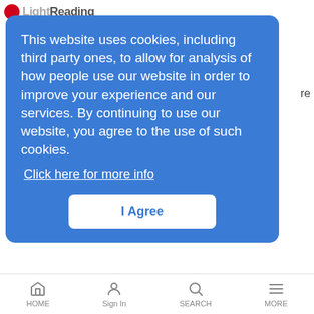LightReading
This website uses cookies, including third party ones, to allow for analysis of how people use our website in order to improve your experience and our services. By continuing to use our website, you agree to the use of such cookies. Click here for more info
I Agree
Also in today's EMEA regional roundup: Yella ties up with Netflix; Vodafone in Iranian exchange deal; ADVA launches fiber assurance device; German industry slow on the IoT uptake.
Interop Demo Pushes G.fast Forward
News Analysis | 10/18/2016
UNH-IOL is hosting the first major interoperability demo for G.fast this
HOME   Sign In   SEARCH   MORE